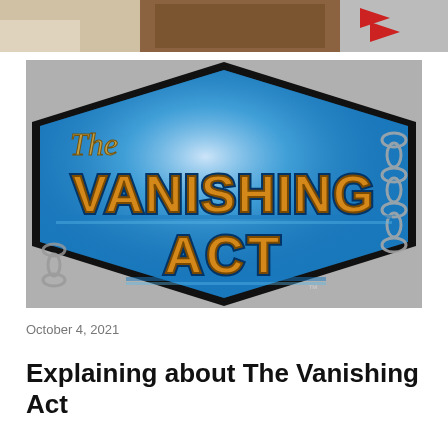[Figure (photo): Top partial strip showing shelves with items in the background, partially cropped]
[Figure (photo): Photo of 'The Vanishing Act' game/product logo on a hexagonal black-bordered sign with blue background and metallic chains. Large ornate text reads 'The VANISHING ACT' in gold and blue lettering with a TM mark.]
October 4, 2021
Explaining about The Vanishing Act